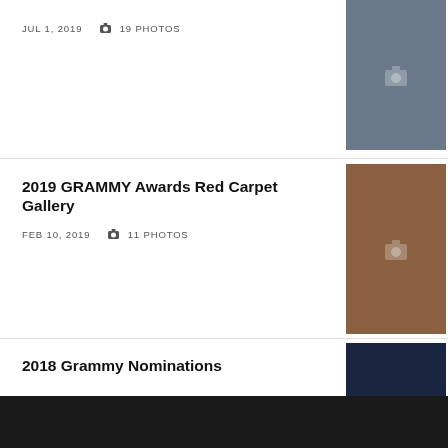JUL 1, 2019   19 PHOTOS
[Figure (photo): Crowd of people looking up, group photo at an event]
2019 GRAMMY Awards Red Carpet Gallery
FEB 10, 2019   11 PHOTOS
[Figure (photo): Man in cowboy hat at red carpet event]
2018 Grammy Nominations
JAN 12, 2018   15 PHOTOS
[Figure (photo): 60th Grammy Awards promotional image]
Bears After Dark With Cody Whitehair
NOV 15, 2017   29 PHOTOS
[Figure (photo): Two men posing at an event]